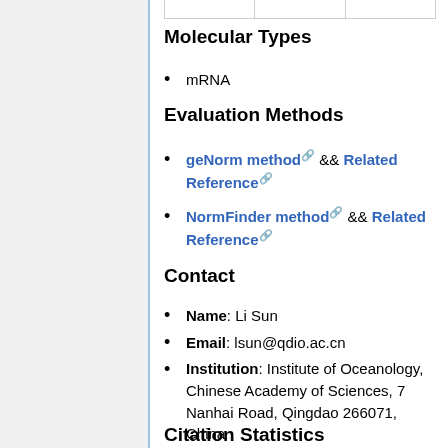Molecular Types
mRNA
Evaluation Methods
geNorm method && Related Reference
NormFinder method && Related Reference
Contact
Name: Li Sun
Email: lsun@qdio.ac.cn
Institution: Institute of Oceanology, Chinese Academy of Sciences, 7 Nanhai Road, Qingdao 266071, China
Citation Statistics